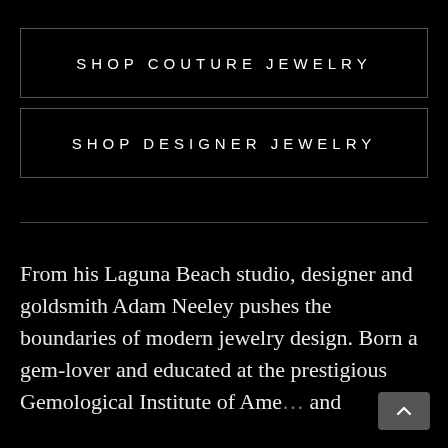SHOP COUTURE JEWELRY
SHOP DESIGNER JEWELRY
From his Laguna Beach studio, designer and goldsmith Adam Neeley pushes the boundaries of modern jewelry design. Born a gem-lover and educated at the prestigious Gemological Institute of Ame… and